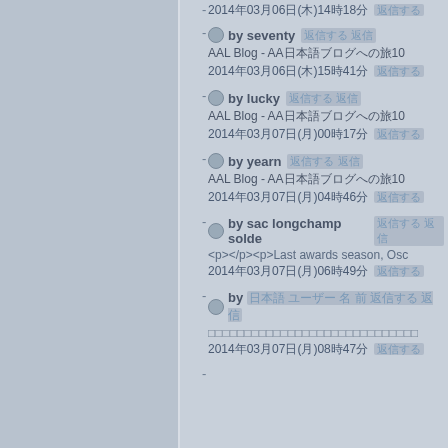2014年03月06日(木)14時18分 返信する
by seventy 返信する プロフィール
AAL Blog - AA日本語ブログへの旅10
2014年03月06日(木)15時41分 返信する
by lucky 返信する プロフィール
AAL Blog - AA日本語ブログへの旅10
2014年03月07日(月)00時17分 返信する
by yearn 返信する プロフィール
AAL Blog - AA日本語ブログへの旅10
2014年03月07日(月)04時46分 返信する
by sac longchamp solde 返信する プロフィール
<p></p><p>Last awards season, Osc
2014年03月07日(月)06時49分 返信する
by ユーザー名 返信する プロフィール
ブログテキストが入ります
2014年03月07日(月)08時47分 返信する